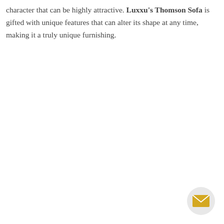character that can be highly attractive. Luxxu's Thomson Sofa is gifted with unique features that can alter its shape at any time, making it a truly unique furnishing.
[Figure (illustration): Mail/envelope icon button — a circular light gray button with a golden/yellow envelope icon in the center, positioned in the bottom-right corner of the page.]